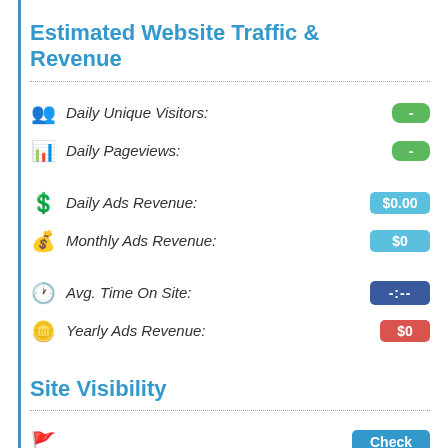Estimated Website Traffic & Revenue
Daily Unique Visitors: -
Daily Pageviews: -
Daily Ads Revenue: $0.00
Monthly Ads Revenue: $0
Avg. Time On Site: -:--
Yearly Ads Revenue: $0
Site Visibility
Check